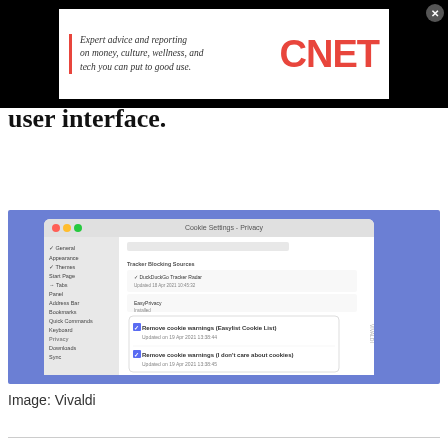[Figure (screenshot): CNET advertisement banner with italic text 'Expert advice and reporting on money, culture, wellness, and tech you can put to good use.' alongside the red CNET logo on a white background with black border, with a close button]
user interface.
[Figure (screenshot): Vivaldi browser settings window showing cookie warning removal options on a blue background. A popup shows two tracker/blocker sources: 'Remove cookie warnings (Easylist Cookie List) Updated on 19 Apr 2021 13:38:44' and 'Remove cookie warnings (I don't care about cookies) Updated on 19 Apr 2021 13:38:45']
Image: Vivaldi